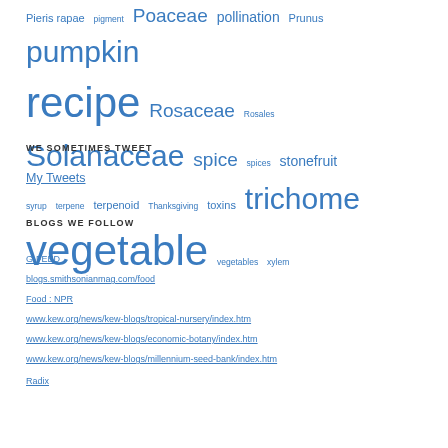Pieris rapae  pigment  Poaceae  pollination  Prunus  pumpkin  recipe  Rosaceae  Rosales  Solanaceae  spice  spices  stonefruit  syrup  terpene  terpenoid  Thanksgiving  toxins  trichome  vegetable  vegetables  xylem
WE SOMETIMES TWEET
My Tweets
BLOGS WE FOLLOW
G-FEED
blogs.smithsonianmag.com/food
Food : NPR
www.kew.org/news/kew-blogs/tropical-nursery/index.htm
www.kew.org/news/kew-blogs/economic-botany/index.htm
www.kew.org/news/kew-blogs/millennium-seed-bank/index.htm
Radix